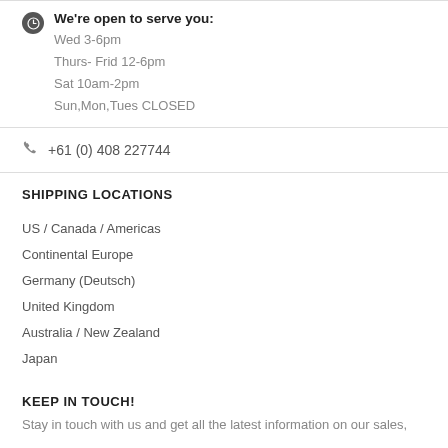We're open to serve you:
Wed 3-6pm
Thurs- Frid 12-6pm
Sat 10am-2pm
Sun,Mon,Tues CLOSED
+61 (0) 408 227744
SHIPPING LOCATIONS
US / Canada / Americas
Continental Europe
Germany (Deutsch)
United Kingdom
Australia / New Zealand
Japan
KEEP IN TOUCH!
Stay in touch with us and get all the latest information on our sales,